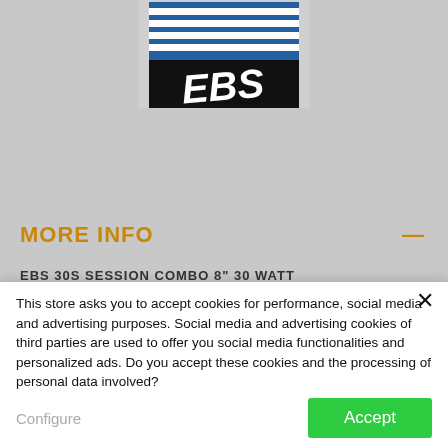[Figure (logo): EBS brand logo — blue and black square with white stylized 'EBS' text and horizontal stripe element at top]
MORE INFO
EBS 30S SESSION COMBO 8" 30 WATT
This store asks you to accept cookies for performance, social media and advertising purposes. Social media and advertising cookies of third parties are used to offer you social media functionalities and personalized ads. Do you accept these cookies and the processing of personal data involved?
Configure
Accept